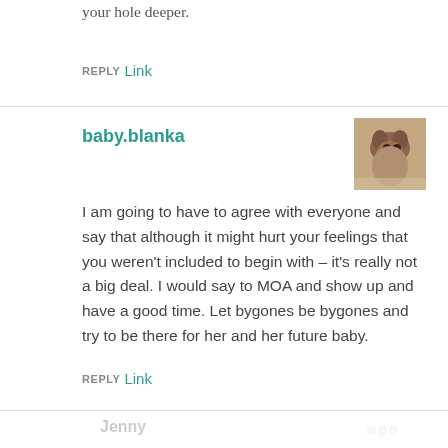your hole deeper.
REPLY Link
baby.blanka
[Figure (photo): Small avatar photo of a dog or animal, brownish tones]
I am going to have to agree with everyone and say that although it might hurt your feelings that you weren't included to begin with – it's really not a big deal. I would say to MOA and show up and have a good time. Let bygones be bygones and try to be there for her and her future baby.
REPLY Link
Jenny